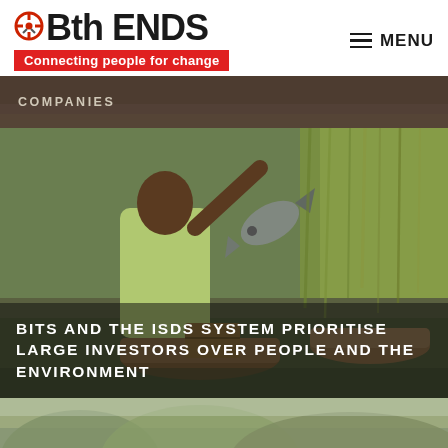[Figure (logo): Both ENDS logo with circular crosshair icon and tagline 'Connecting people for change' on red bar]
[Figure (photo): Dirt road or sandy area - top banner image below header]
COMPANIES
[Figure (photo): Person in green shirt holding a large fish by a boat near reedy water]
BITS AND THE ISDS SYSTEM PRIORITISE LARGE INVESTORS OVER PEOPLE AND THE ENVIRONMENT
[Figure (photo): Forest/jungle landscape seen from a distance with mist]